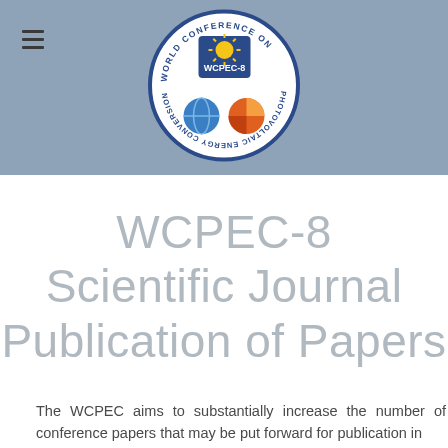[Figure (logo): WCPEC-8 World Conference on Photovoltaic Energy Conversion circular logo with sun and earth icons]
WCPEC-8 Scientific Journal Publication of Papers
The WCPEC aims to substantially increase the number of conference papers that may be put forward for publication in